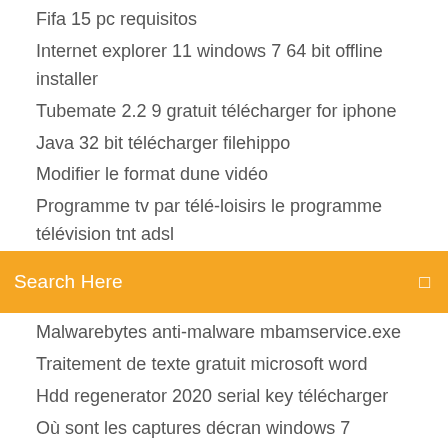Fifa 15 pc requisitos
Internet explorer 11 windows 7 64 bit offline installer
Tubemate 2.2 9 gratuit télécharger for iphone
Java 32 bit télécharger filehippo
Modifier le format dune vidéo
Programme tv par télé-loisirs le programme télévision tnt adsl
[Figure (screenshot): Orange search bar with text 'Search Here' and a search icon on the right]
Malwarebytes anti-malware mbamservice.exe
Traitement de texte gratuit microsoft word
Hdd regenerator 2020 serial key télécharger
Où sont les captures décran windows 7
Logitech gaming software windows 8.1
Descargar audio de youtube y video
Pokemon go iphone 4s 2020
Metal gear solid v the phantom pain ps3 gameplay
Comment synchroniser contact iphone avec macbook air
Télécharger kerbal space program crack